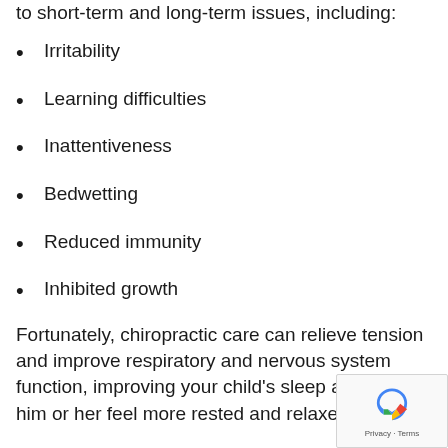to short-term and long-term issues, including:
Irritability
Learning difficulties
Inattentiveness
Bedwetting
Reduced immunity
Inhibited growth
Fortunately, chiropractic care can relieve tension and improve respiratory and nervous system function, improving your child's sleep and help him or her feel more rested and relaxed.